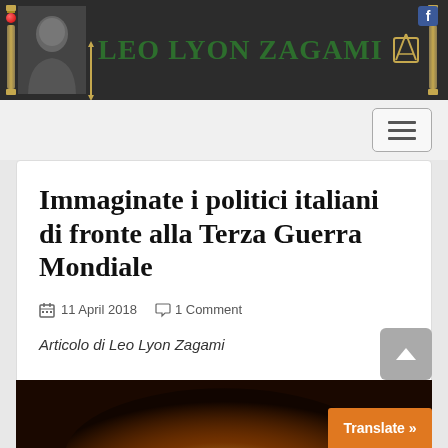LEO LYON ZAGAMI
Immaginate i politici italiani di fronte alla Terza Guerra Mondiale
11 April 2018   1 Comment
Articolo di Leo Lyon Zagami
[Figure (photo): Partial image at the bottom of the page, dark background with warm orange/yellow tones, partially visible]